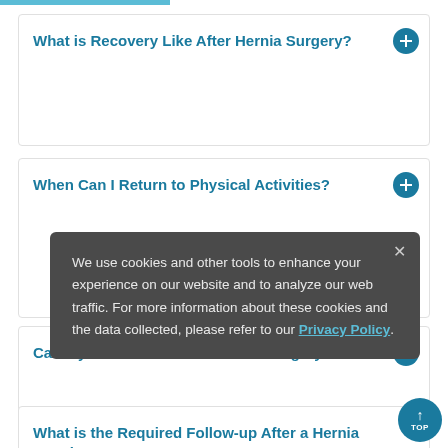What is Recovery Like After Hernia Surgery?
When Can I Return to Physical Activities?
Can My Hernia Come Back After Surgery?
What is the Required Follow-up After a Hernia Repair?
We use cookies and other tools to enhance your experience on our website and to analyze our web traffic. For more information about these cookies and the data collected, please refer to our Privacy Policy.